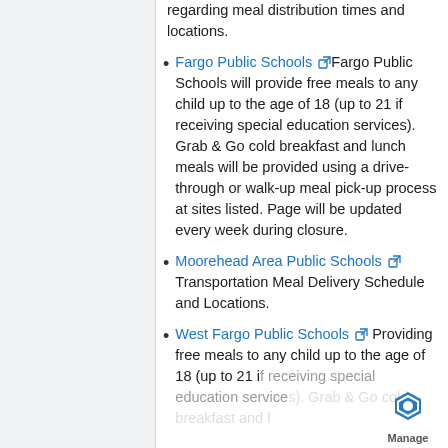regarding meal distribution times and locations.
Fargo Public Schools – Fargo Public Schools will provide free meals to any child up to the age of 18 (up to 21 if receiving special education services). Grab & Go cold breakfast and lunch meals will be provided using a drive-through or walk-up meal pick-up process at sites listed. Page will be updated every week during closure.
Moorehead Area Public Schools – Transportation Meal Delivery Schedule and Locations.
West Fargo Public Schools – Providing free meals to any child up to the age of 18 (up to 21 if receiving special education services). Grab & Go cold breakfast and…